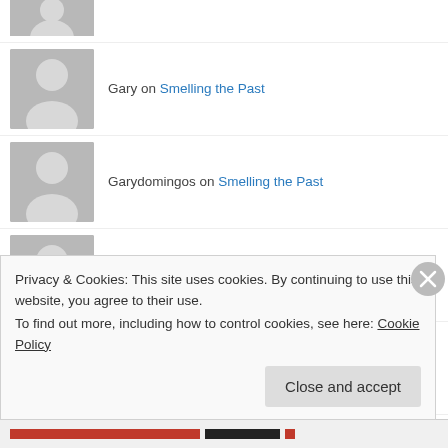Gary on Smelling the Past
Garydomingos on Smelling the Past
Garydomingos on Smelling the Past
Dennis Lesieur on Smelling the Past
joanharvest on Smelling the Past
Privacy & Cookies: This site uses cookies. By continuing to use this website, you agree to their use.
To find out more, including how to control cookies, see here: Cookie Policy
Close and accept